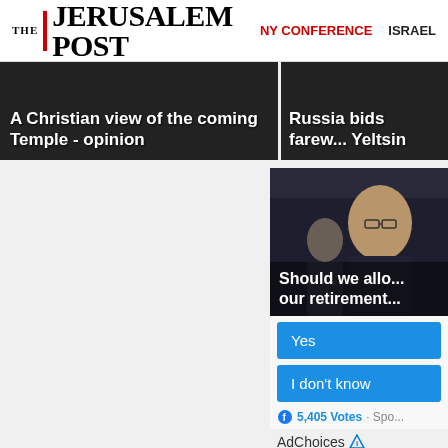THE JERUSALEM POST | NY CONFERENCE | ISRAEL
[Figure (screenshot): Article card: A Christian view of the coming Temple - opinion]
[Figure (screenshot): Article card: Russia bids farewell Yeltsin]
[Figure (photo): Photo of a man with glasses; overlay text: Should we allo... our retirement...]
Yes
I don't know
5,405 Votes · Spo...
AdChoices